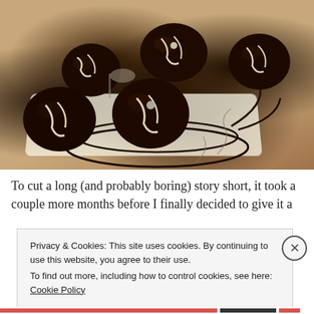[Figure (photo): Close-up photograph of chocolate truffles decorated with white chocolate drizzle and sprinkles, arranged on a glass cake stand with parchment paper, on a wooden surface.]
To cut a long (and probably boring) story short, it took a couple more months before I finally decided to give it a
Privacy & Cookies: This site uses cookies. By continuing to use this website, you agree to their use.
To find out more, including how to control cookies, see here: Cookie Policy
Close and accept